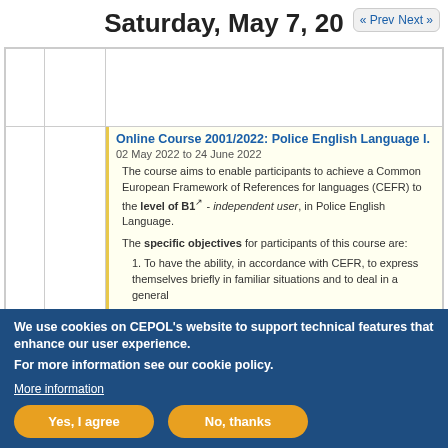Saturday, May 7, 20...
| Time | Day | Event |
| --- | --- | --- |
|  |  |  |
|  |  | Online Course 2001/2022: Police English Language I. | 02 May 2022 to 24 June 2022 | The course aims to enable participants to achieve a Common European Framework of References for languages (CEFR) to the level of B1 - independent user, in Police English Language. The specific objectives for participants of this course are: 1. To have the ability, in accordance with CEFR, to express themselves briefly in familiar situations and to deal in a general |
We use cookies on CEPOL's website to support technical features that enhance our user experience. For more information see our cookie policy.
More information
Yes, I agree | No, thanks